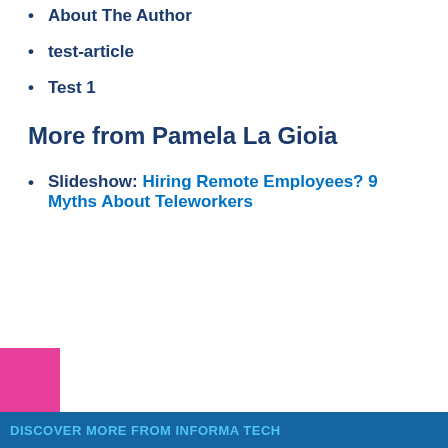About The Author
test-article
Test 1
More from Pamela La Gioia
Slideshow: Hiring Remote Employees? 9 Myths About Teleworkers
Working with Remote Employees
This site uses cookies to provide you with the best user experience possible. By continuing to use this site, you accept our use of cookies.
SUBSCRIBE NOW TO ICMI CONTACT CENTER INSIDER!
I AGREE
DISCOVER MORE FROM INFORMA TECH